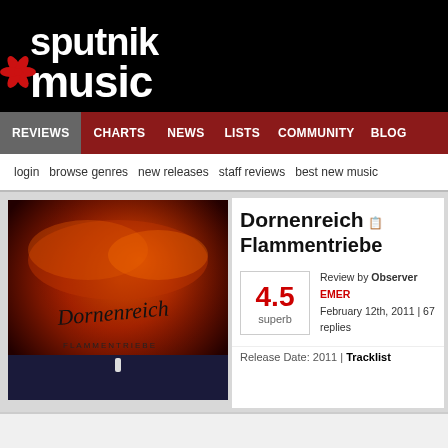[Figure (logo): Sputnik Music logo with white text on black background and red flower/star icon]
REVIEWS | CHARTS | NEWS | LISTS | COMMUNITY | BLOG
login   browse genres   new releases   staff reviews   best new music
[Figure (photo): Album cover for Dornenreich - Flammentriebe showing a dramatic red/orange sky with small figure at bottom]
Dornenreich Flammentriebe
4.5 superb
Review by Observer EMER February 12th, 2011 | 67 replies
Release Date: 2011 | Tracklist